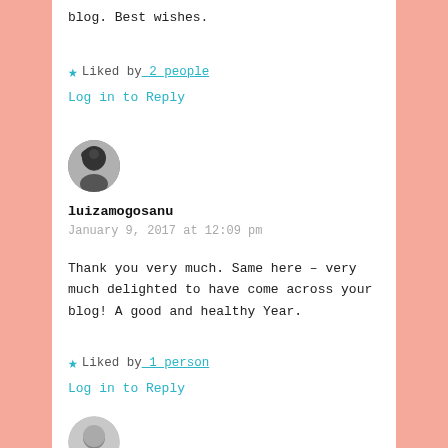blog. Best wishes.
★ Liked by 2 people
Log in to Reply
[Figure (photo): Circular avatar photo of a woman with dark hair and bangs, black and white]
luizamogosanu
January 9, 2017 at 12:09 pm
Thank you very much. Same here – very much delighted to have come across your blog! A good and healthy Year.
★ Liked by 1 person
Log in to Reply
[Figure (photo): Circular avatar photo of an older man, partially visible at bottom]